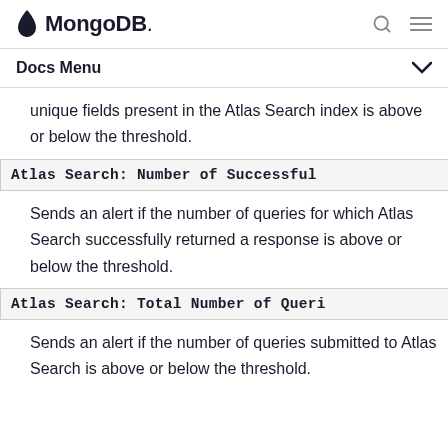MongoDB
Docs Menu
unique fields present in the Atlas Search index is above or below the threshold.
Atlas Search: Number of Successful
Sends an alert if the number of queries for which Atlas Search successfully returned a response is above or below the threshold.
Atlas Search: Total Number of Queri
Sends an alert if the number of queries submitted to Atlas Search is above or below the threshold.